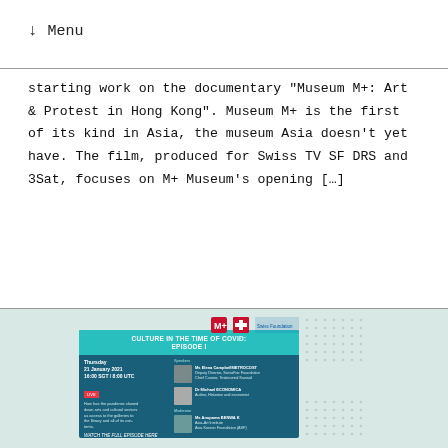↓  Menu
starting work on the documentary "Museum M+: Art & Protest in Hong Kong". Museum M+ is the first of its kind in Asia, the museum Asia doesn't yet have. The film, produced for Swiss TV SF DRS and 3Sat, focuses on M+ Museum's opening […]
View this post
[Figure (infographic): Event flyer for 'Culture in the Time of Covid: Episode I', a webinar with speaker photos, date Thursday 21 January 2021, 16:00 SGT / 8:00 UTC, with logos including Swiss cross and other organization logos. Teal and dark blue design with dot grid pattern.]